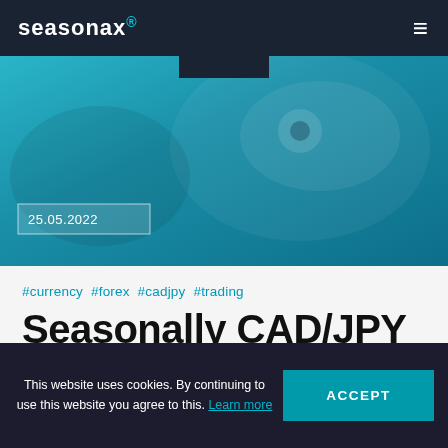seasonax
[Figure (photo): Teal/cyan hero banner image with abstract background, date badge showing 25.05.2022, and dark tab at top center]
#currency #forex #cadjpy #trading
Seasonally CAD/JPY does well
This website uses cookies. By continuing to use this website you agree to this. Learn more
ACCEPT